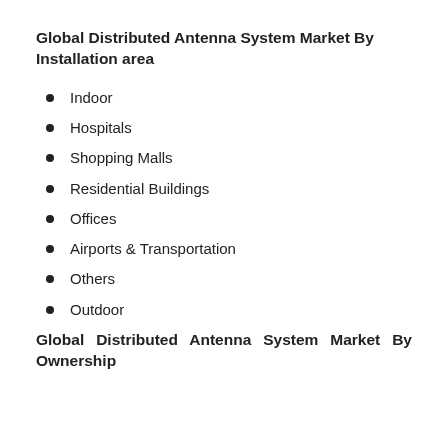Global Distributed Antenna System Market By Installation area
Indoor
Hospitals
Shopping Malls
Residential Buildings
Offices
Airports & Transportation
Others
Outdoor
Global Distributed Antenna System Market By Ownership